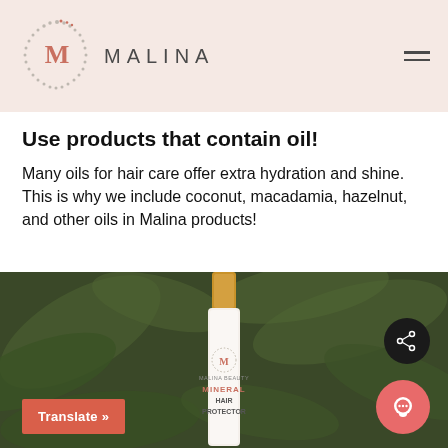MALINA
Use products that contain oil!
Many oils for hair care offer extra hydration and shine. This is why we include coconut, macadamia, hazelnut, and other oils in Malina products!
[Figure (photo): Malina Mineral Hair Protector bottle standing in front of green tropical foliage background, with a share button and chat button overlaid]
Translate »